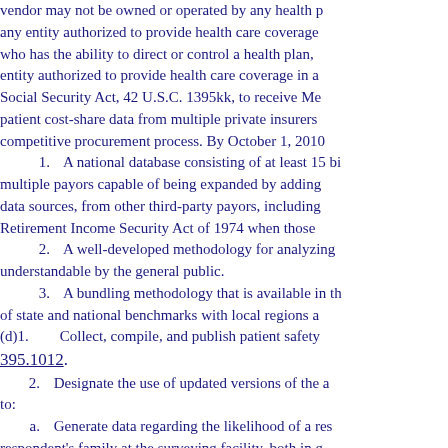vendor may not be owned or operated by any health p any entity authorized to provide health care coverage who has the ability to direct or control a health plan, entity authorized to provide health care coverage in a Social Security Act, 42 U.S.C. 1395kk, to receive Me patient cost-share data from multiple private insurers competitive procurement process. By October 1, 2010
1.    A national database consisting of at least 15 bi multiple payors capable of being expanded by adding data sources, from other third-party payors, including Retirement Income Security Act of 1974 when those
2.    A well-developed methodology for analyzing understandable by the general public.
3.    A bundling methodology that is available in th of state and national benchmarks with local regions a
(d)1.    Collect, compile, and publish patient safety 395.1012.
2.    Designate the use of updated versions of the a to:
a.    Generate data regarding the likelihood of a res respondent's family at the surveying facility, both in g unit or work area; and
b.    Begin the site owner de as identified in the